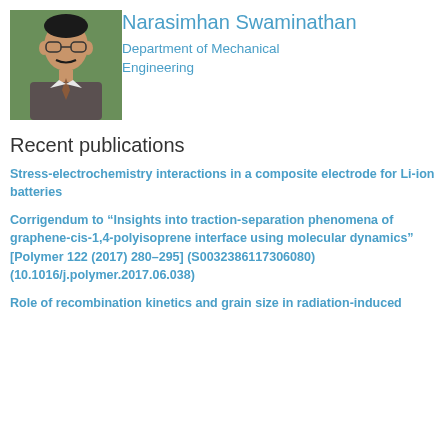[Figure (photo): Portrait photo of Narasimhan Swaminathan, a man wearing glasses, a suit jacket, and tie, photographed against a green background.]
Narasimhan Swaminathan
Department of Mechanical Engineering
Recent publications
Stress-electrochemistry interactions in a composite electrode for Li-ion batteries
Corrigendum to “Insights into traction-separation phenomena of graphene-cis-1,4-polyisoprene interface using molecular dynamics” [Polymer 122 (2017) 280–295] (S0032386117306080) (10.1016/j.polymer.2017.06.038)
Role of recombination kinetics and grain size in radiation-induced